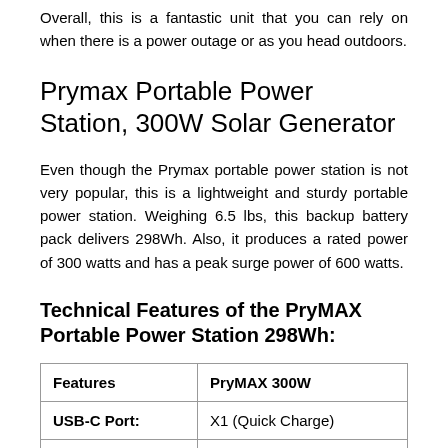Overall, this is a fantastic unit that you can rely on when there is a power outage or as you head outdoors.
Prymax Portable Power Station, 300W Solar Generator
Even though the Prymax portable power station is not very popular, this is a lightweight and sturdy portable power station. Weighing 6.5 lbs, this backup battery pack delivers 298Wh. Also, it produces a rated power of 300 watts and has a peak surge power of 600 watts.
Technical Features of the PryMAX Portable Power Station 298Wh:
| Features | PryMAX 300W |
| --- | --- |
| USB-C Port: | X1 (Quick Charge) |
| Car Port: | x1 |